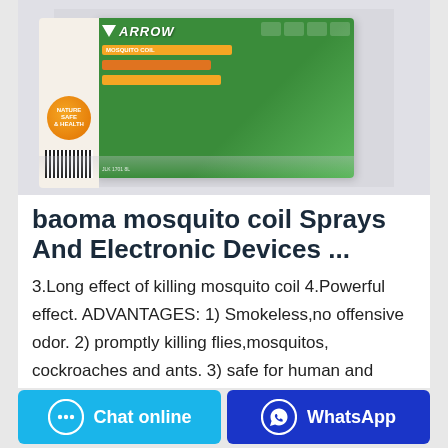[Figure (photo): Product box of baoma mosquito coil with green and white packaging, showing back of box with ARROW logo, orange circle with text, barcode, and product icons on a grey background.]
baoma mosquito coil Sprays And Electronic Devices ...
3.Long effect of killing mosquito coil 4.Powerful effect. ADVANTAGES: 1) Smokeless,no offensive odor. 2) promptly killing flies,mosquitos, cockroaches and ants. 3) safe for human and livestock. 4) effective for long: 8-12hours. use